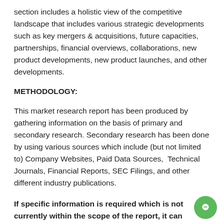section includes a holistic view of the competitive landscape that includes various strategic developments such as key mergers & acquisitions, future capacities, partnerships, financial overviews, collaborations, new product developments, new product launches, and other developments.
METHODOLOGY:
This market research report has been produced by gathering information on the basis of primary and secondary research. Secondary research has been done by using various sources which include (but not limited to) Company Websites, Paid Data Sources,  Technical Journals, Financial Reports, SEC Filings, and other different industry publications.
If specific information is required which is not currently within the scope of the report, it can